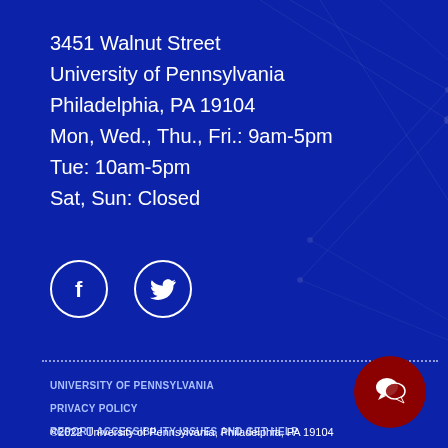3451 Walnut Street
University of Pennsylvania
Philadelphia, PA 19104
Mon, Wed., Thu., Fri.: 9am-5pm
Tue: 10am-5pm
Sat, Sun: Closed
[Figure (infographic): Facebook and Twitter social media icons as white circles with white iconography on dark blue background]
UNIVERSITY OF PENNSYLVANIA
PRIVACY POLICY
REPORT ACCESSIBILITY ISSUES AND GET HELP
[Figure (infographic): Dark red circular chat/accessibility button with white speech bubble icon]
©2022 University of Pennsylvania, Philadelphia, PA 19104